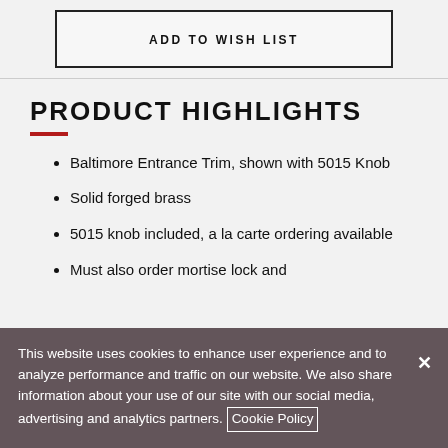ADD TO WISH LIST
PRODUCT HIGHLIGHTS
Baltimore Entrance Trim, shown with 5015 Knob
Solid forged brass
5015 knob included, a la carte ordering available
Must also order mortise lock and
This website uses cookies to enhance user experience and to analyze performance and traffic on our website. We also share information about your use of our site with our social media, advertising and analytics partners. Cookie Policy